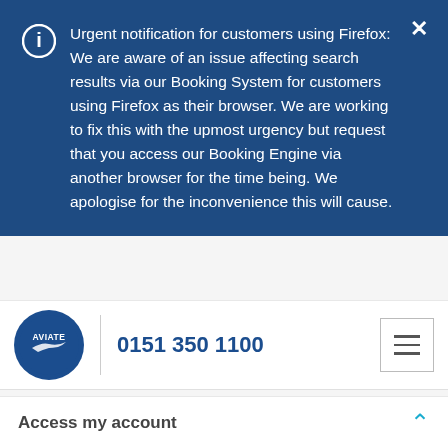Urgent notification for customers using Firefox: We are aware of an issue affecting search results via our Booking System for customers using Firefox as their browser. We are working to fix this with the upmost urgency but request that you access our Booking Engine via another browser for the time being. We apologise for the inconvenience this will cause.
[Figure (logo): Aviate circular logo in dark blue]
0151 350 1100
[Figure (other): Hamburger menu icon button]
[Figure (other): Light blue horizontal bar]
Access my account